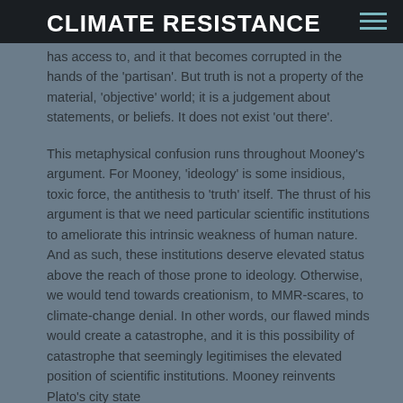CLIMATE RESISTANCE
has access to, and it that becomes corrupted in the hands of the ‘partisan’. But truth is not a property of the material, ‘objective’ world; it is a judgement about statements, or beliefs. It does not exist ‘out there’.
This metaphysical confusion runs throughout Mooney’s argument. For Mooney, ‘ideology’ is some insidious, toxic force, the antithesis to ‘truth’ itself. The thrust of his argument is that we need particular scientific institutions to ameliorate this intrinsic weakness of human nature. And as such, these institutions deserve elevated status above the reach of those prone to ideology. Otherwise, we would tend towards creationism, to MMR-scares, to climate-change denial. In other words, our flawed minds would create a catastrophe, and it is this possibility of catastrophe that seemingly legitimises the elevated position of scientific institutions. Mooney reinvents Plato’s city state